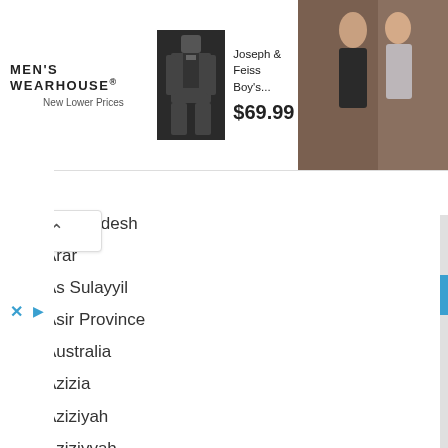[Figure (screenshot): Men's Wearhouse advertisement banner showing Joseph & Feiss Boy's suit for $69.99 with product image and couple photo]
nra Pradesh
Arar
As Sulayyil
Asir Province
Australia
Azizia
Aziziyah
Aziziyyah
Baha
Bahrain
Baish
Bani Malik
Basel
Batha